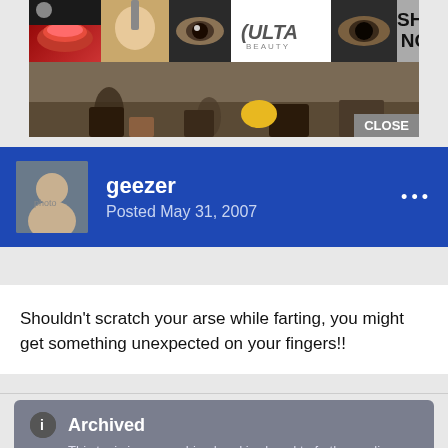[Figure (screenshot): Ulta Beauty advertisement banner showing makeup/cosmetics images with 'SHOP NOW' button and 'CLOSE' button]
geezer
Posted May 31, 2007
Shouldn't scratch your arse while farting, you might get something unexpected on your fingers!!
Archived
This topic is now archived and is closed to further replies.
[Figure (screenshot): Seamless food delivery advertisement with pizza image and 'ORDER NOW' button]